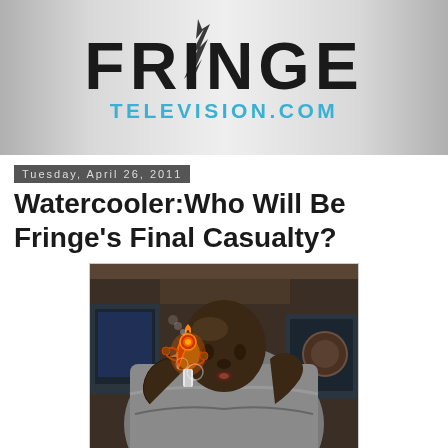FRINGE TELEVISION.COM
Tuesday, April 26, 2011
Watercooler:Who Will Be Fringe's Final Casualty?
[Figure (photo): A bald Black man wrapped in a grey blanket holding a glowing orange glass piece up to blow into it, laboratory equipment visible in background]